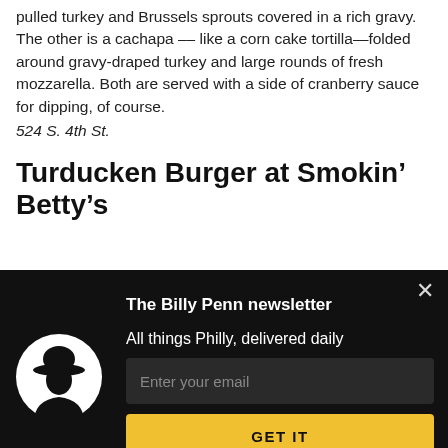pulled turkey and Brussels sprouts covered in a rich gravy. The other is a cachapa — like a corn cake tortilla— folded around gravy-draped turkey and large rounds of fresh mozzarella. Both are served with a side of cranberry sauce for dipping, of course.
524 S. 4th St.
Turducken Burger at Smokin' Betty's
[Figure (photo): Close-up photo of a burger, partially visible at the top of the page]
The Billy Penn newsletter
All things Philly, delivered daily
[Figure (logo): Billy Penn logo: white silhouette of a figure wearing a hat inside a white circle on black background]
Enter your email
GET IT